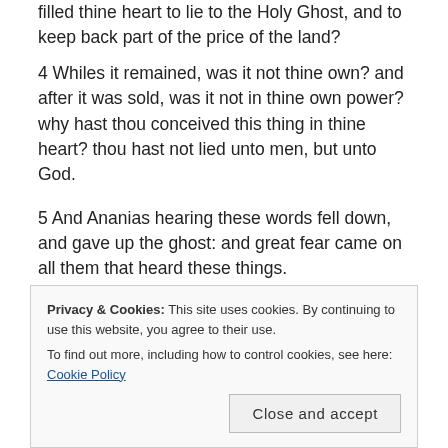filled thine heart to lie to the Holy Ghost, and to keep back part of the price of the land?
4 Whiles it remained, was it not thine own? and after it was sold, was it not in thine own power? why hast thou conceived this thing in thine heart? thou hast not lied unto men, but unto God.
5 And Ananias hearing these words fell down, and gave up the ghost: and great fear came on all them that heard these things.
after, when his wife, not knowing what was
Privacy & Cookies: This site uses cookies. By continuing to use this website, you agree to their use.
To find out more, including how to control cookies, see here: Cookie Policy
Close and accept